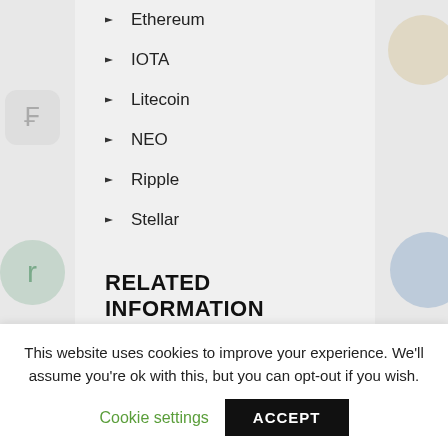Ethereum
IOTA
Litecoin
NEO
Ripple
Stellar
RELATED INFORMATION
Acheter Neo Crypto Monnaie
Bitcoin Upside
Cardano Coinbase
Cardano Cryptocurrency Facebook
This website uses cookies to improve your experience. We'll assume you're ok with this, but you can opt-out if you wish.
Cookie settings
ACCEPT